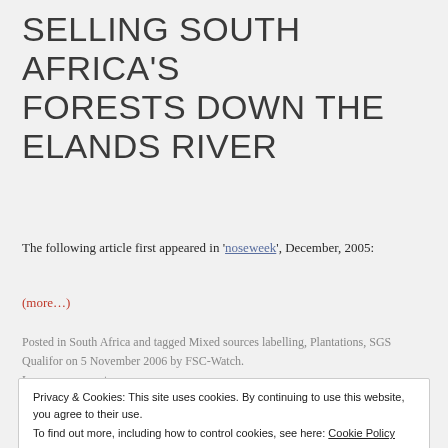SELLING SOUTH AFRICA'S FORESTS DOWN THE ELANDS RIVER
The following article first appeared in 'noseweek', December, 2005:
(more…)
Posted in South Africa and tagged Mixed sources labelling, Plantations, SGS Qualifor on 5 November 2006 by FSC-Watch. Leave a comment
Privacy & Cookies: This site uses cookies. By continuing to use this website, you agree to their use. To find out more, including how to control cookies, see here: Cookie Policy Close and accept